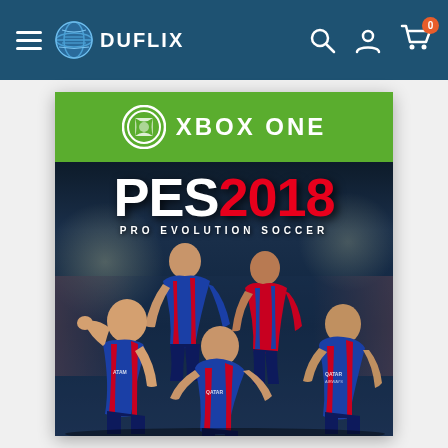Duflix - navigation bar with hamburger menu, logo, search, account, and cart icons
[Figure (screenshot): Xbox One game cover for PES 2018 Pro Evolution Soccer featuring FC Barcelona players in a stadium setting. Green Xbox One banner at top, bold PES 2018 title with white PES and red 2018, subtitle PRO EVOLUTION SOCCER, and multiple soccer players including Suarez, Neymar, Messi, Iniesta.]